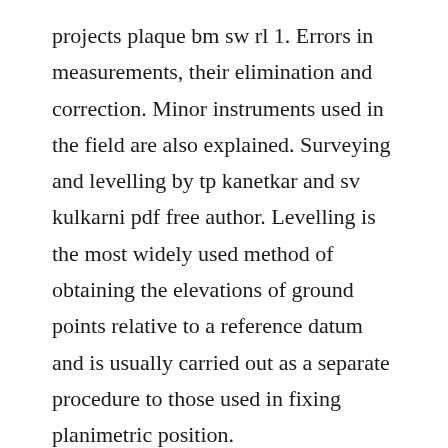projects plaque bm sw rl 1. Errors in measurements, their elimination and correction. Minor instruments used in the field are also explained. Surveying and levelling by tp kanetkar and sv kulkarni pdf free author. Levelling is the most widely used method of obtaining the elevations of ground points relative to a reference datum and is usually carried out as a separate procedure to those used in fixing planimetric position.
It covers all basic methods of surveying and levelling, applications of surveying and